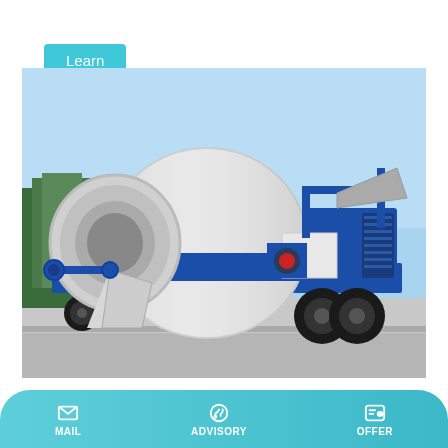Learn More
[Figure (photo): A blue and white concrete mixer pump truck/trailer parked on a road, with a large cylindrical drum mixer and engine unit, photographed outdoors against a blue sky with trees in the background.]
Marini-Ermont
MARINI-ERMONT is specialized in the production of
MAIL
ADVISORY
OFFER